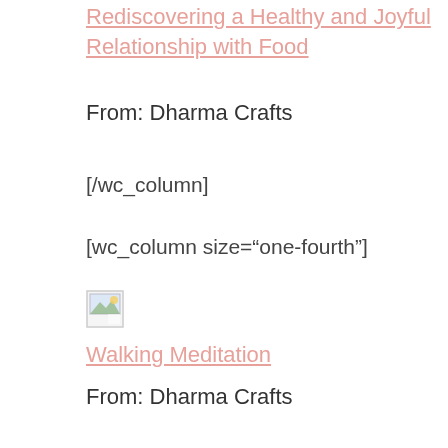Rediscovering a Healthy and Joyful Relationship with Food
From: Dharma Crafts
[/wc_column]
[wc_column size="one-fourth"]
[Figure (other): Broken image placeholder icon]
Walking Meditation
From: Dharma Crafts
[/wc_column]
[wc_column                  size="one-fourth" position="last"]